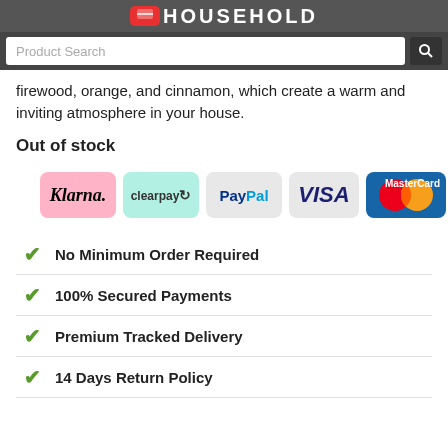HOUSEHOLD
firewood, orange, and cinnamon, which create a warm and inviting atmosphere in your house.
Out of stock
[Figure (logo): Payment method logos: Klarna, Clearpay, PayPal, VISA, MasterCard]
No Minimum Order Required
100% Secured Payments
Premium Tracked Delivery
14 Days Return Policy